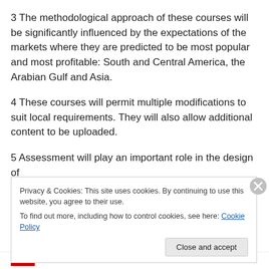3 The methodological approach of these courses will be significantly influenced by the expectations of the markets where they are predicted to be most popular and most profitable: South and Central America, the Arabian Gulf and Asia.
4 These courses will permit multiple modifications to suit local requirements. They will also allow additional content to be uploaded.
5 Assessment will play an important role in the design of
Privacy & Cookies: This site uses cookies. By continuing to use this website, you agree to their use.
To find out more, including how to control cookies, see here: Cookie Policy